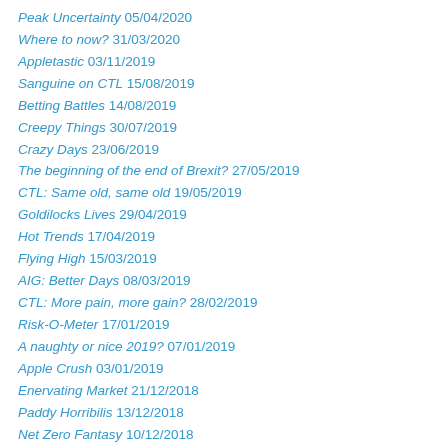Peak Uncertainty 05/04/2020
Where to now? 31/03/2020
Appletastic 03/11/2019
Sanguine on CTL 15/08/2019
Betting Battles 14/08/2019
Creepy Things 30/07/2019
Crazy Days 23/06/2019
The beginning of the end of Brexit? 27/05/2019
CTL: Same old, same old 19/05/2019
Goldilocks Lives 29/04/2019
Hot Trends 17/04/2019
Flying High 15/03/2019
AIG: Better Days 08/03/2019
CTL: More pain, more gain? 28/02/2019
Risk-O-Meter 17/01/2019
A naughty or nice 2019? 07/01/2019
Apple Crush 03/01/2019
Enervating Market 21/12/2018
Paddy Horribilis 13/12/2018
Net Zero Fantasy 10/12/2018